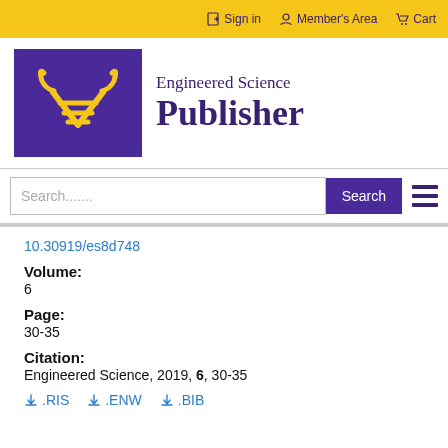Sign in  Member's Area  Cart
[Figure (logo): Engineered Science Publisher logo: purple box with golden bull-horn and layered lines motif, text 'Engineered Science Publisher']
Search......
10.30919/es8d748
Volume:
6
Page:
30-35
Citation:
Engineered Science, 2019, 6, 30-35
.RIS  .ENW  .BIB